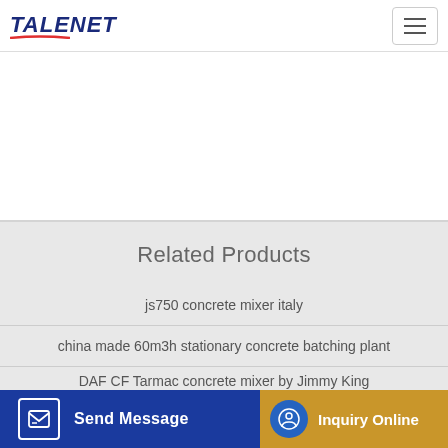TALENET
Related Products
js750 concrete mixer italy
china made 60m3h stationary concrete batching plant
DAF CF Tarmac concrete mixer by Jimmy King
Dry mortar liquid soap manufacturing plant BHS stationary